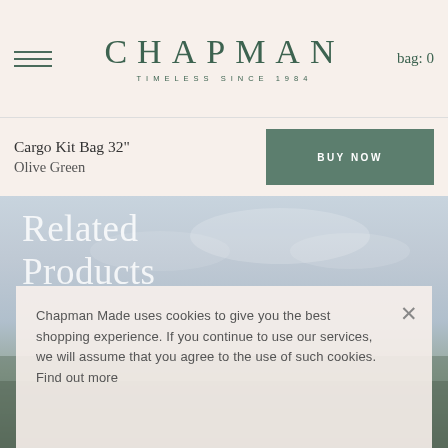CHAPMAN TIMELESS SINCE 1984  bag: 0
Cargo Kit Bag 32"
Olive Green
BUY NOW
Related Products
[Figure (photo): Outdoor landscape background photo with sky and green fields, used as background behind Related Products section]
Chapman Made uses cookies to give you the best shopping experience. If you continue to use our services, we will assume that you agree to the use of such cookies. Find out more